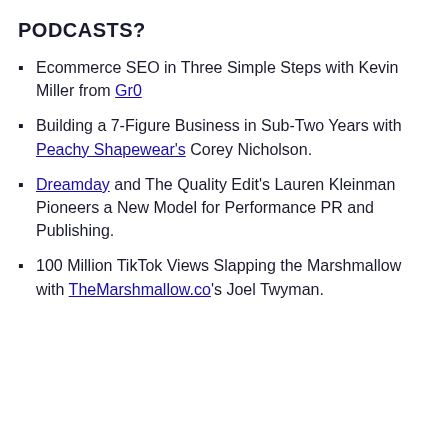PODCASTS?
Ecommerce SEO in Three Simple Steps with Kevin Miller from Gr0
Building a 7-Figure Business in Sub-Two Years with Peachy Shapewear's Corey Nicholson.
Dreamday and The Quality Edit's Lauren Kleinman Pioneers a New Model for Performance PR and Publishing.
100 Million TikTok Views Slapping the Marshmallow with TheMarshmallow.co's Joel Twyman.